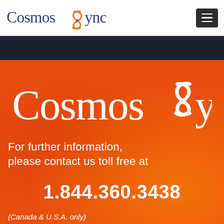[Figure (logo): CosmosSync logo in header - blue and orange text with swirl graphic]
[Figure (logo): Large white CosmosSync logo on orange background with swirl graphic]
For further information, please contact us toll free at
1.844.360.3438
(Canada & U.S.A. only)